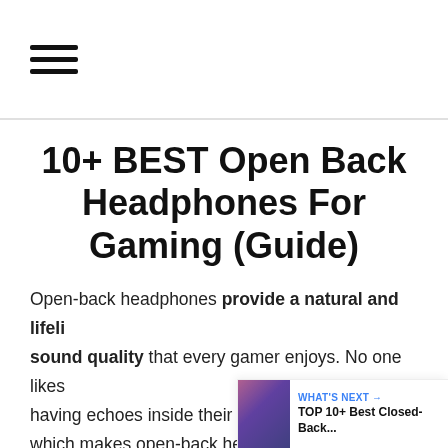≡ (hamburger menu icon)
10+ BEST Open Back Headphones For Gaming (Guide)
Open-back headphones provide a natural and lifelike sound quality that every gamer enjoys. No one likes having echoes inside their headphones while which makes open-back headsets better than their